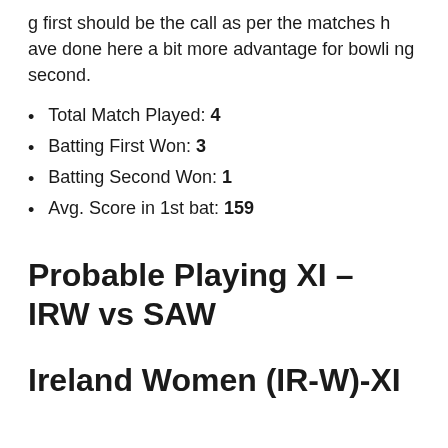g first should be the call as per the matches have done here a bit more advantage for bowling second.
Total Match Played: 4
Batting First Won: 3
Batting Second Won: 1
Avg. Score in 1st bat: 159
Probable Playing XI – IRW vs SAW
Ireland Women (IR-W)-XI